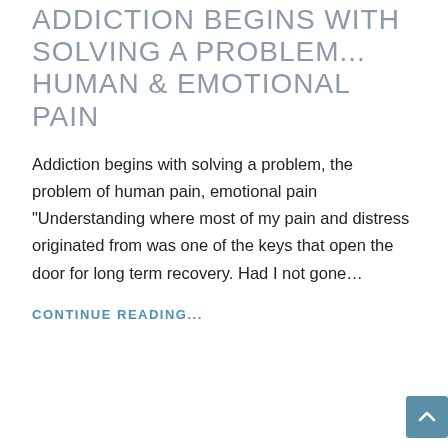ADDICTION BEGINS WITH SOLVING A PROBLEM... HUMAN & EMOTIONAL PAIN
Addiction begins with solving a problem, the problem of human pain, emotional pain "Understanding where most of my pain and distress originated from was one of the keys that open the door for long term recovery. Had I not gone...
CONTINUE READING...